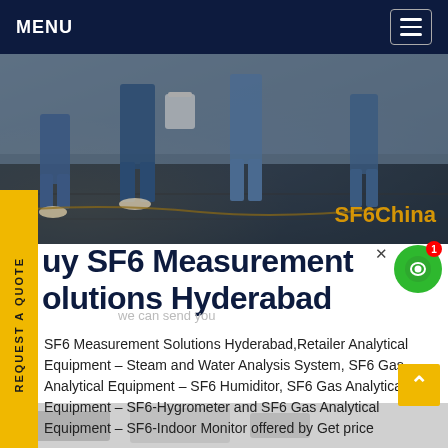MENU
[Figure (photo): Workers in blue uniforms standing near industrial equipment on a dark floor; SF6China watermark in orange bottom right.]
REQUEST A QUOTE
Buy SF6 Measurement Solutions Hyderabad
we can send you
SF6 Measurement Solutions Hyderabad,Retailer Analytical Equipment – Steam and Water Analysis System, SF6 Gas Analytical Equipment – SF6 Humiditor, SF6 Gas Analytical Equipment – SF6-Hygrometer and SF6 Gas Analytical Equipment – SF6-Indoor Monitor offered by Get price
[Figure (photo): Bottom strip showing what appears to be indoor equipment or furniture.]